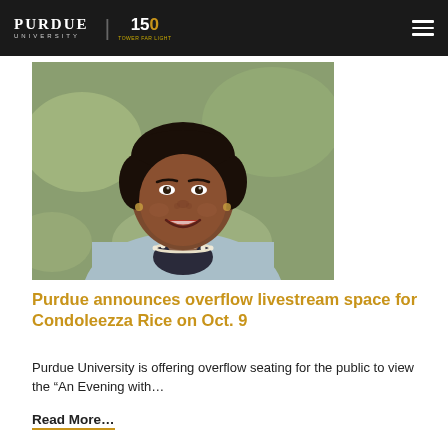Purdue University | 150
[Figure (photo): Portrait photo of Condoleezza Rice, a woman with dark hair wearing a light blue blazer and pearl necklace, smiling, with a blurred outdoor background]
Purdue announces overflow livestream space for Condoleezza Rice on Oct. 9
Purdue University is offering overflow seating for the public to view the “An Evening with…
Read More…